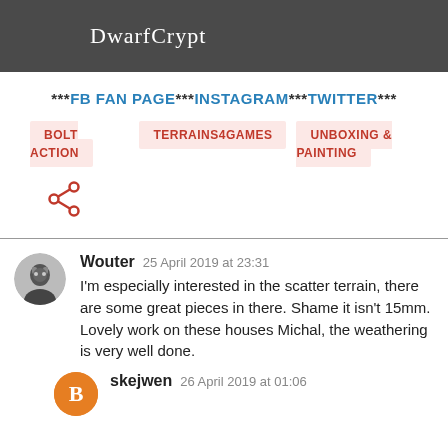DwarfCrypt
*** FB FAN PAGE *** INSTAGRAM *** TWITTER ***
BOLT ACTION
TERRAINS4GAMES
UNBOXING & PAINTING
Wouter  25 April 2019 at 23:31
I'm especially interested in the scatter terrain, there are some great pieces in there. Shame it isn't 15mm.
Lovely work on these houses Michal, the weathering is very well done.
skejwen  26 April 2019 at 01:06